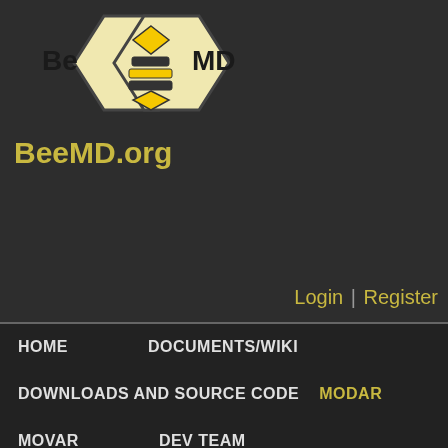[Figure (logo): BeeMD.org logo with two hexagons containing bee/hive imagery and text 'Be MD']
BeeMD.org
Login | Register
HOME    DOCUMENTS/WIKI
DOWNLOADS AND SOURCE CODE    MODAR
MOVAR    DEV TEAM
Modar
SUBMITTED BY MENGEN ON SUN, 08/03/2014 - 10:08